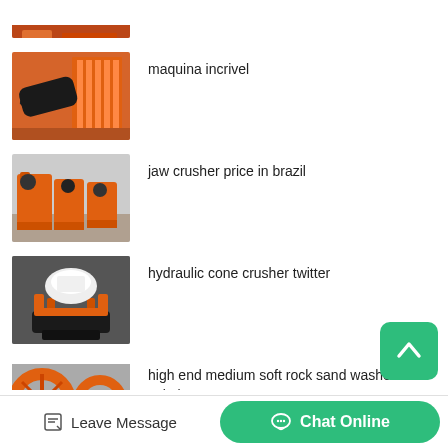[Figure (photo): Partially visible industrial machinery photo at top, cropped]
maquina incrivel
[Figure (photo): Industrial rotary drum/kiln machine in orange color inside factory]
jaw crusher price in brazil
[Figure (photo): Orange jaw crusher machines in factory setting]
hydraulic cone crusher twitter
[Figure (photo): White and orange hydraulic cone crusher machine in factory]
high end medium soft rock sand washer for sale in Durres
[Figure (photo): Orange sand washer machine, partially visible at bottom]